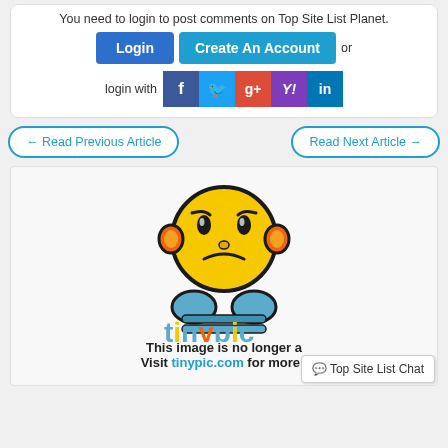You need to login to post comments on Top Site List Planet.
Login | Create An Account | or
login with [Facebook] [Twitter] [Google+] [Yahoo] [LinkedIn]
← Read Previous Article
Read Next Article →
[Figure (illustration): Tinypic sad face mascot with orange headphones and blue hands, with tinypic logo below]
This image is no longer a... Visit tinypic.com for more i...
💬 Top Site List Chat